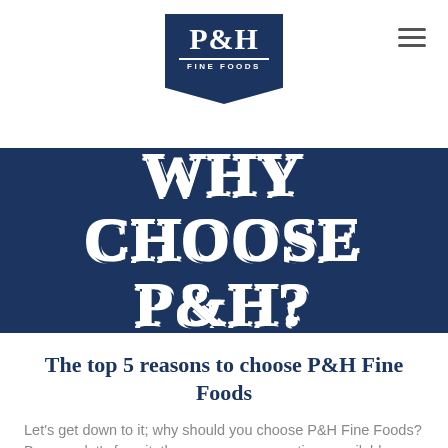[Figure (logo): P&H Fine Foods logo — dark navy shield/pennant shape with 'P&H' in large serif font and 'FINE FOODS' in small caps below a horizontal rule]
[Figure (infographic): Hamburger menu icon (three horizontal lines) in top-right corner]
[Figure (infographic): Dark navy banner with large decorative outlined/inline serif text reading 'WHY CHOOSE P&H?']
The top 5 reasons to choose P&H Fine Foods
Let’s get down to it; why should you choose P&H Fine Foods? Because let’s face it, there are so many options available, figuring out what works without hours of research and trial